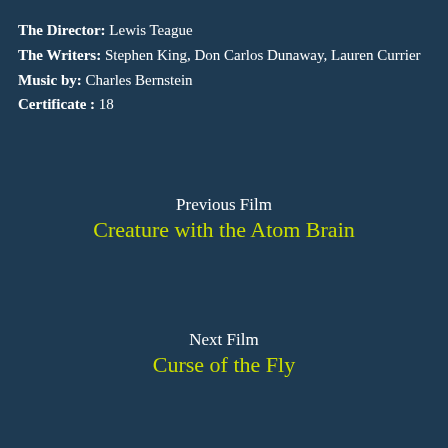The Director: Lewis Teague
The Writers: Stephen King, Don Carlos Dunaway, Lauren Currier
Music by: Charles Bernstein
Certificate : 18
Previous Film
Creature with the Atom Brain
Next Film
Curse of the Fly